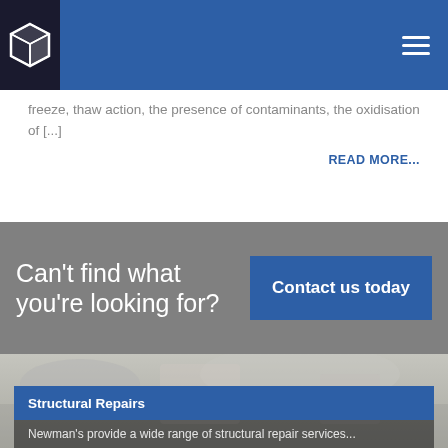Newman's logo and navigation
freeze, thaw action, the presence of contaminants, the oxidisation of [...]
READ MORE...
Can't find what you're looking for?  Contact us today
[Figure (photo): Background photo of construction/structural repair work, blurred and faded]
Structural Repairs
Newman's provide a wide range of structural repair services...